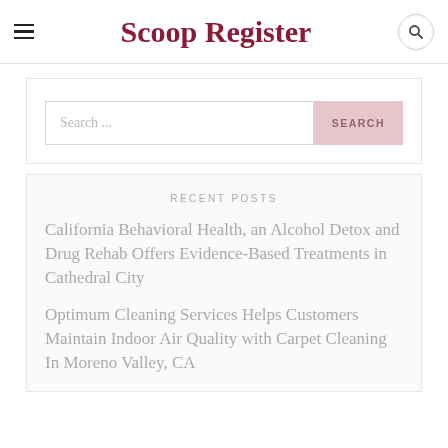Scoop Register
Search ...
RECENT POSTS
California Behavioral Health, an Alcohol Detox and Drug Rehab Offers Evidence-Based Treatments in Cathedral City
Optimum Cleaning Services Helps Customers Maintain Indoor Air Quality with Carpet Cleaning In Moreno Valley, CA